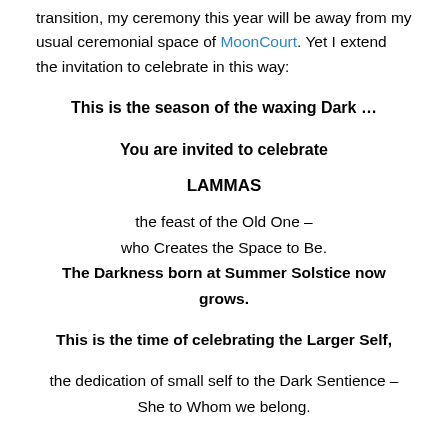transition, my ceremony this year will be away from my usual ceremonial space of MoonCourt. Yet I extend the invitation to celebrate in this way:
This is the season of the waxing Dark …
You are invited to celebrate
LAMMAS
the feast of the Old One –
who Creates the Space to Be.
The Darkness born at Summer Solstice now grows.
This is the time of celebrating the Larger Self,
the dedication of small self to the Dark Sentience –
She to Whom we belong.